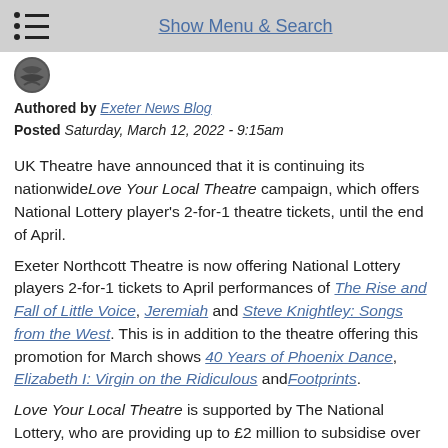Show Menu & Search
[Figure (logo): Small circular logo/avatar icon]
Authored by Exeter News Blog
Posted Saturday, March 12, 2022 - 9:15am
UK Theatre have announced that it is continuing its nationwide Love Your Local Theatre campaign, which offers National Lottery player's 2-for-1 theatre tickets, until the end of April.
Exeter Northcott Theatre is now offering National Lottery players 2-for-1 tickets to April performances of The Rise and Fall of Little Voice, Jeremiah and Steve Knightley: Songs from the West. This is in addition to the theatre offering this promotion for March shows 40 Years of Phoenix Dance, Elizabeth I: Virgin on the Ridiculous and Footprints.
Love Your Local Theatre is supported by The National Lottery, who are providing up to £2 million to subsidise over 150,000